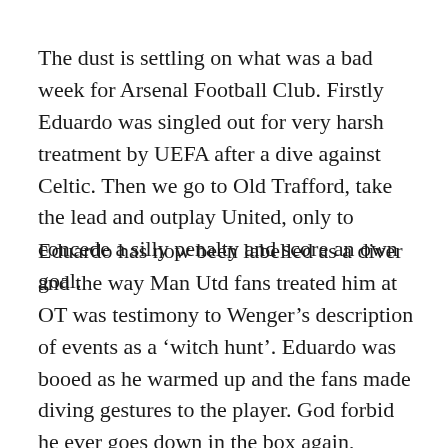The dust is settling on what was a bad week for Arsenal Football Club. Firstly Eduardo was singled out for very harsh treatment by UEFA after a dive against Celtic. Then we go to Old Trafford, take the lead and outplay United, only to concede a silly penalty and score an own goal.
Eduardo has now been labelled as a diver and the way Man Utd fans treated him at OT was testimony to Wenger’s description of events as a ‘witch hunt’. Eduardo was booed as he warmed up and the fans made diving gestures to the player. God forbid he ever goes down in the box again, because the reaction will not be friendly and the pressure will be